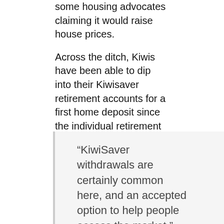some housing advocates claiming it would raise house prices.
Across the ditch, Kiwis have been able to dip into their Kiwisaver retirement accounts for a first home deposit since the individual retirement account program began in 2007.
New Zealanders can withdraw nearly everything from those accounts, leaving as little as NZ$1,000 in them. For people earning less than a certain amount, the NZ government chips in a few thousand dollars – up to a maximum of NZ$20,000 for a couple buying a brand new house or building their own.
“KiwiSaver withdrawals are certainly common here, and an accepted option to help people access the market,” said Kelvin Davidson, the chief property